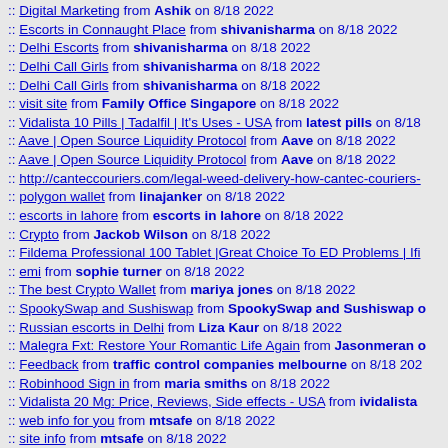:: Digital Marketing from Ashik on 8/18 2022
:: Escorts in Connaught Place from shivanisharma on 8/18 2022
:: Delhi Escorts from shivanisharma on 8/18 2022
:: Delhi Call Girls from shivanisharma on 8/18 2022
:: Delhi Call Girls from shivanisharma on 8/18 2022
:: visit site from Family Office Singapore on 8/18 2022
:: Vidalista 10 Pills | Tadalfil | It's Uses - USA from latest pills on 8/18
:: Aave | Open Source Liquidity Protocol from Aave on 8/18 2022
:: Aave | Open Source Liquidity Protocol from Aave on 8/18 2022
:: http://canteccouriers.com/legal-weed-delivery-how-cantec-couriers-
:: polygon wallet from linajanker on 8/18 2022
:: escorts in lahore from escorts in lahore on 8/18 2022
:: Crypto from Jackob Wilson on 8/18 2022
:: Fildema Professional 100 Tablet |Great Choice To ED Problems | Ifi
:: emi from sophie turner on 8/18 2022
:: The best Crypto Wallet from mariya jones on 8/18 2022
:: SpookySwap and Sushiswap from SpookySwap and Sushiswap o
:: Russian escorts in Delhi from Liza Kaur on 8/18 2022
:: Malegra Fxt: Restore Your Romantic Life Again from Jasonmeran o
:: Feedback from traffic control companies melbourne on 8/18 202
:: Robinhood Sign in from maria smiths on 8/18 2022
:: Vidalista 20 Mg: Price, Reviews, Side effects - USA from ividalista
:: web info for you from mtsafe on 8/18 2022
:: site info from mtsafe on 8/18 2022
:: z7rzg8ddv2z from z7rzg8ddv2z on 8/17 2022
Re: z7rzg8ddv2z from z7rzg8ddv2z on 8/17 2022
Re: z7rzg8ddv2z from z7rzg8ddv2z on 8/17 2022
:: tytry574575 from ye5747457 on 8/17 2022
346343etwet from rtert363463 on 8/17 2022
:: aka.ms/remoteconnect from Patrika Jones on 8/17 2022